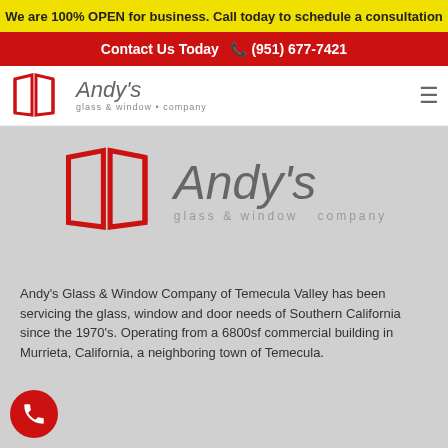We are 100% OPEN for business. Call today to schedule a consultation
Contact Us Today  (951) 677-7421
[Figure (logo): Andy's glass & window company logo in navigation header]
[Figure (logo): Andy's glass & window company large logo centered in gray hero area]
Andy's Glass & Window Company of Temecula Valley has been servicing the glass, window and door needs of Southern California since the 1970's. Operating from a 6800sf commercial building in Murrieta, California, a neighboring town of Temecula.